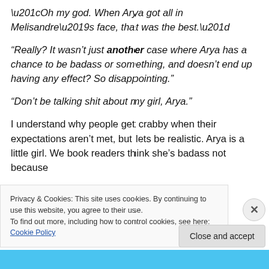“Oh my god. When Arya got all in Melisandre’s face, that was the best.”
“Really? It wasn’t just another case where Arya has a chance to be badass or something, and doesn’t end up having any effect? So disappointing.”
“Don’t be talking shit about my girl, Arya.”
I understand why people get crabby when their expectations aren’t met, but lets be realistic. Arya is a little girl. We book readers think she’s badass not because
Privacy & Cookies: This site uses cookies. By continuing to use this website, you agree to their use.
To find out more, including how to control cookies, see here: Cookie Policy
Close and accept